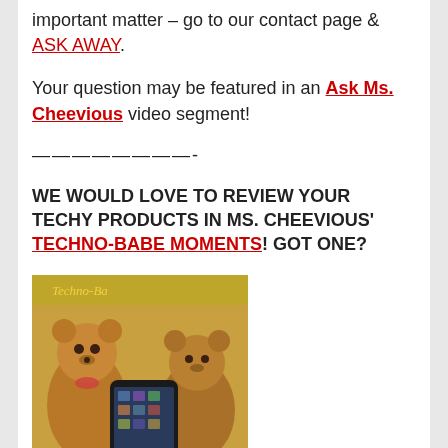important matter – go to our contact page & ASK AWAY.
Your question may be featured in an Ask Ms. Cheevious video segment!
————————-
WE WOULD LOVE TO REVIEW YOUR TECHY PRODUCTS IN MS. CHEEVIOUS' TECHNO-BABE MOMENTS! GOT ONE?
[Figure (photo): Image showing two teddy bears and a smartphone, related to Techno-Babe Moments segment]